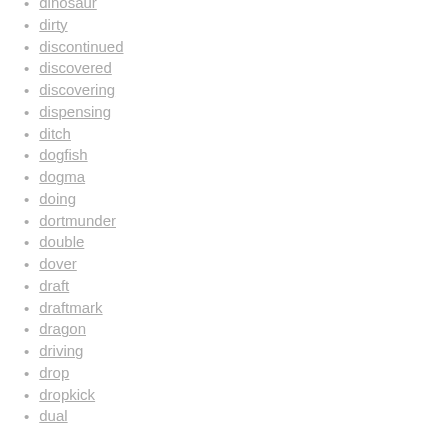dinosaur
dirty
discontinued
discovered
discovering
dispensing
ditch
dogfish
dogma
doing
dortmunder
double
dover
draft
draftmark
dragon
driving
drop
dropkick
dual